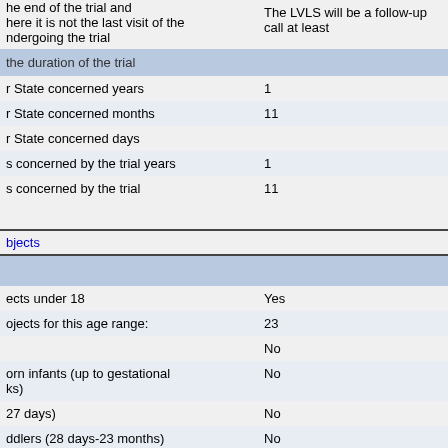|  |  |
| --- | --- |
| he end of the trial and here it is not the last visit of the ndergoing the trial | The LVLS will be a follow-up call at least |
| the duration of the trial |  |
| r State concerned years | 1 |
| r State concerned months | 11 |
| r State concerned days |  |
| s concerned by the trial years | 1 |
| s concerned by the trial | 11 |
| bjects |  |
| --- | --- |
|  |  |
| ects under 18 | Yes |
| ojects for this age range: | 23 |
|  | No |
| orn infants (up to gestational ks) | No |
| 27 days) | No |
| ddlers (28 days-23 months) | No |